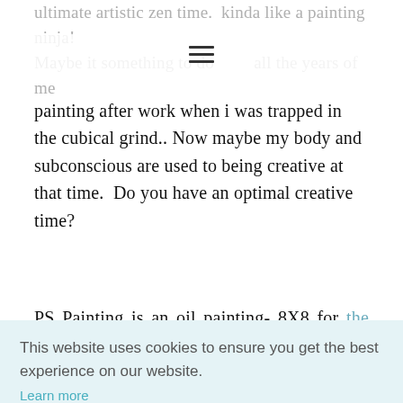ultimate artistic zen time.  kinda like a painting ninja! Maybe it something to do with all the years of me painting after work when i was trapped in the cubical grind.. Now maybe my body and subconscious are used to being creative at that time.  Do you have an optimal creative time?
PS Painting is an oil painting- 8X8 for the Goodfoot group show- 88 strong.  If your interested in [...]  email [...]  r the
This website uses cookies to ensure you get the best experience on our website.
Learn more
Got it!